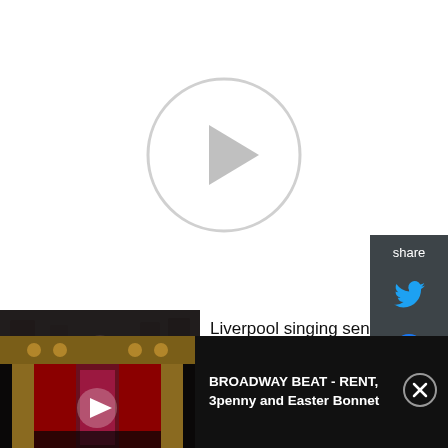[Figure (other): Video player area with large circular play button on white background]
[Figure (other): Share sidebar with Twitter and Facebook icons on dark grey background]
[Figure (photo): Woman with arms outstretched in a dark stone venue, Beryl Marsden]
Liverpool singing sensation Beryl Marsden is set to celebrate an amazing 60
[Figure (screenshot): Ad banner: Broadway Beat video thumbnail showing theatre stage with red curtain and play button]
BROADWAY BEAT - RENT, 3penny and Easter Bonnet